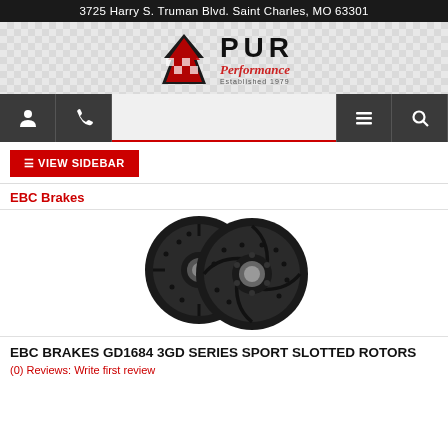3725 Harry S. Truman Blvd. Saint Charles, MO 63301
[Figure (logo): PUR Performance logo with checkered flag background, established 1979]
[Figure (screenshot): Navigation icon bar with person, phone, menu, and search icons]
☰ VIEW SIDEBAR
EBC Brakes
[Figure (photo): Two EBC sport slotted and drilled brake rotors, black finish, shown overlapping]
EBC BRAKES GD1684 3GD SERIES SPORT SLOTTED ROTORS
(0) Reviews: Write first review